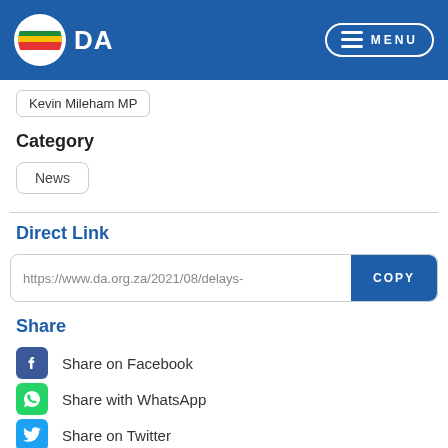DA — Democratic Alliance header with logo and MENU button
Kevin Mileham MP
Category
News
Direct Link
https://www.da.org.za/2021/08/delays-
Share
Share on Facebook
Share with WhatsApp
Share on Twitter
Send by Email